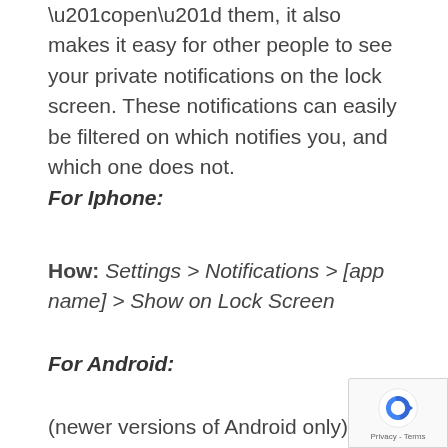“open” them, it also makes it easy for other people to see your private notifications on the lock screen. These notifications can easily be filtered on which notifies you, and which one does not.
For Iphone:
How: Settings > Notifications > [app name] > Show on Lock Screen
For Android:
(newer versions of Android only).